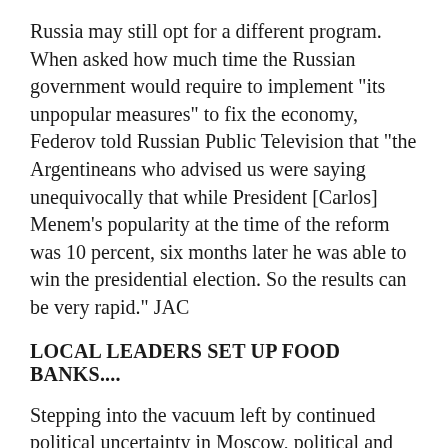Russia may still opt for a different program. When asked how much time the Russian government would require to implement "its unpopular measures" to fix the economy, Federov told Russian Public Television that "the Argentineans who advised us were saying unequivocally that while President [Carlos] Menem's popularity at the time of the reform was 10 percent, six months later he was able to win the presidential election. So the results can be very rapid." JAC
LOCAL LEADERS SET UP FOOD BANKS....
Stepping into the vacuum left by continued political uncertainty in Moscow, political and business leaders around Russia have devised a variety of measures to ease the economic crisis, according to ITAR-TASS on 6 September. In Saratov, Governor Dmitrii Ayatskov